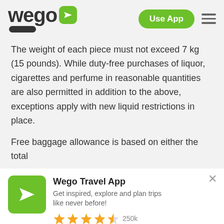[Figure (logo): Wego logo with green airplane icon and rounded pill shape, with 'Use App' green button and hamburger menu on the right]
The weight of each piece must not exceed 7 kg (15 pounds). While duty-free purchases of liquor, cigarettes and perfume in reasonable quantities are also permitted in addition to the above, exceptions apply with new liquid restrictions in place.
Free baggage allowance is based on either the total
[Figure (other): Wego Travel App promotional banner with green app icon (airplane), title 'Wego Travel App', description 'Get inspired, explore and plan trips like never before!', 4.5 star rating with 250k reviews, and orange DOWNLOAD APP NOW button]